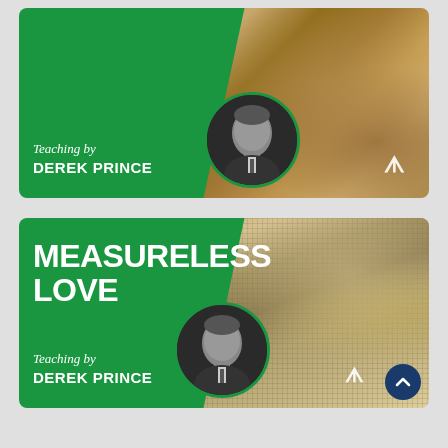[Figure (illustration): Card thumbnail 1: Green left panel with 'Teaching by DEREK PRINCE' text and portrait circle, right side shows archaeological ruins (tan/brown stone walls). DP logo visible bottom right.]
[Figure (illustration): Card thumbnail 2: Green left panel with 'MEASURELESS LOVE' title and 'Teaching by DEREK PRINCE' text and portrait circle, right side shows aerial view of solar farm. DP logo and scroll-up button visible bottom right.]